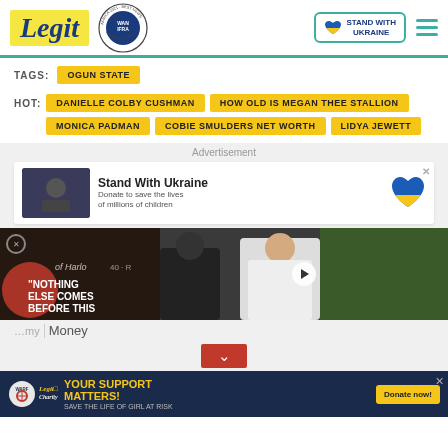Legit | WAN IFRA 2021 Best News Website in Africa | Stand With Ukraine
TAGS: OGUN STATE
HOT: DANIELLE COLBY CUSHMAN | HOW OLD IS MEGAN THEE STALLION | MONICA PADMAN | COBIE SMULDERS NET WORTH | LIDYA JEWETT
Advertisement
[Figure (screenshot): Stand With Ukraine ad banner with Ukraine heart icon, text: Donate to save the lives of millions of children]
[Figure (screenshot): Video player overlay showing text: NOTHING ELSE COMES BEFORE THIS, with a play button and person in white jacket]
my... Money
[Figure (screenshot): Legit Charity bottom banner: YOUR SUPPORT MATTERS! SAVE THE LIFE OF GIRL AT RISK, Donate now! button, WARF and Legit Charity logos]